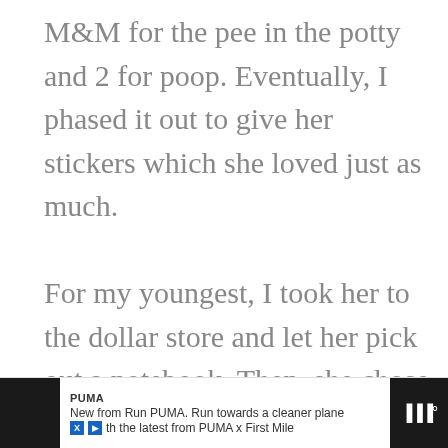M&M for the pee in the potty and 2 for poop. Eventually, I phased it out to give her stickers which she loved just as much.

For my youngest, I took her to the dollar store and let her pick out a notebook. Then, she chose little heart-shaped stickers. I told her that every time she went pee in the potty, she'd
[Figure (screenshot): Advertisement bar at bottom of screen: PUMA ad. Left and right dark panels flank white center with PUMA brand name, two lines of ad text: 'New from Run PUMA. Run towards a cleaner plane' and social media icons with 'th the latest from PUMA x First Mile'. Right dark panel shows muted audio icon.]